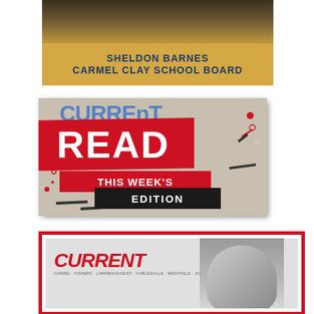[Figure (advertisement): Political advertisement for Sheldon Barnes, Carmel Clay School Board. Shows a man in a suit with gold/navy background.]
[Figure (advertisement): Promotional banner reading READ THIS WEEK'S EDITION in bold red and black text over a Current newspaper background.]
[Figure (advertisement): Current newspaper advertisement with red border, CURRENT logo in red italic text, subtitle listing Carmel, Fishers, Lawrence/Geist, Noblesville, Westfield, Zionsville, and a woman with glasses in grayscale.]